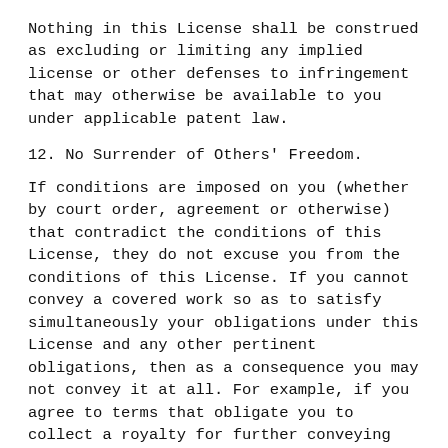Nothing in this License shall be construed as excluding or limiting any implied license or other defenses to infringement that may otherwise be available to you under applicable patent law.
12. No Surrender of Others' Freedom.
If conditions are imposed on you (whether by court order, agreement or otherwise) that contradict the conditions of this License, they do not excuse you from the conditions of this License. If you cannot convey a covered work so as to satisfy simultaneously your obligations under this License and any other pertinent obligations, then as a consequence you may not convey it at all. For example, if you agree to terms that obligate you to collect a royalty for further conveying from those to whom you convey the Program, the only way you could satisfy both those terms and this License would be to refrain entirely from conveying the